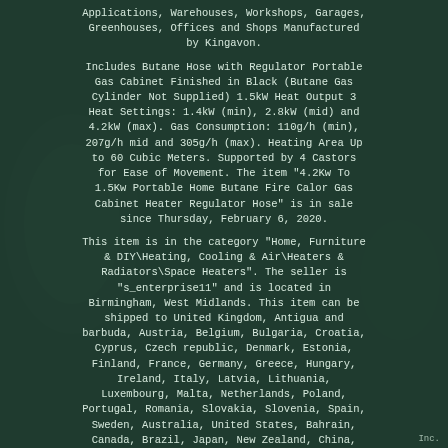Applications, Warehouses, Workshops, Garages, Greenhouses, Offices and Shops Manufactured by Kingavon.
Includes Butane Hose with Regulator Portable Gas Cabinet Finished in Black (Butane Gas Cylinder Not Supplied) 1.5kW Heat Output 3 Heat Settings: 1.4kW (min), 2.8kW (mid) and 4.2kW (max). Gas Consumption: 110g/h (min), 207g/h mid and 305g/h (max). Heating Area Up to 60 Cubic Meters. Supported by 4 Castors for Ease of Movement. The item "4.2Kw To 1.5Kw Portable Home Butane Fire Calor Gas Cabinet Heater Regulator Hose" is in sale since Thursday, February 6, 2020.
This item is in the category "Home, Furniture & DIY\Heating, Cooling & Air\Heaters & Radiators\Space Heaters". The seller is "s_enterprise11" and is located in Birmingham, West Midlands. This item can be shipped to United Kingdom, Antigua and barbuda, Austria, Belgium, Bulgaria, Croatia, Cyprus, Czech republic, Denmark, Estonia, Finland, France, Germany, Greece, Hungary, Ireland, Italy, Latvia, Lithuania, Luxembourg, Malta, Netherlands, Poland, Portugal, Romania, Slovakia, Slovenia, Spain, Sweden, Australia, United States, Bahrain, Canada, Brazil, Japan, New Zealand, China,
Inc.